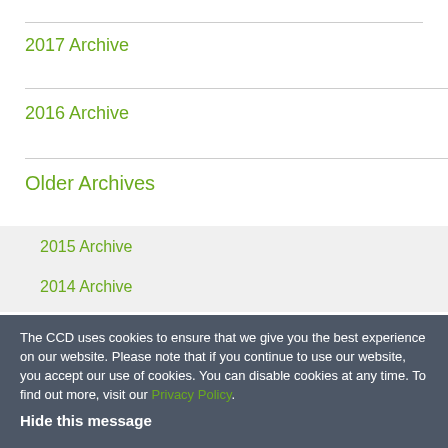2017 Archive
2016 Archive
Older Archives
2015 Archive
2014 Archive
2013 Archive
2012 Archive
2011 Archive
The CCD uses cookies to ensure that we give you the best experience on our website. Please note that if you continue to use our website, you accept our use of cookies. You can disable cookies at any time. To find out more, visit our Privacy Policy.
Hide this message